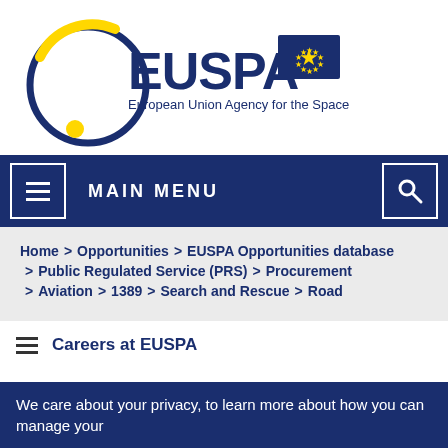[Figure (logo): EUSPA logo — European Union Agency for the Space Programme, with EU flag]
MAIN MENU
Home > Opportunities > EUSPA Opportunities database > Public Regulated Service (PRS) > Procurement > Aviation > 1389 > Search and Rescue > Road
Careers at EUSPA
We care about your privacy, to learn more about how you can manage your